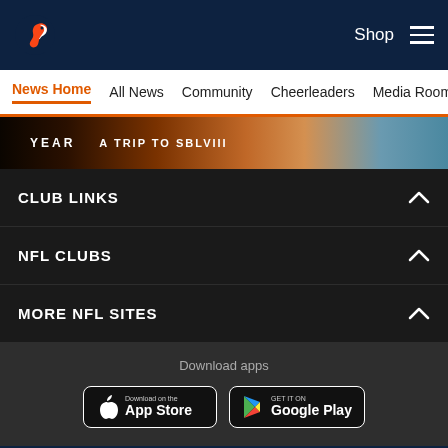Denver Broncos - Shop | Menu navigation
News Home | All News | Community | Cheerleaders | Media Room
[Figure (screenshot): Denver Broncos promotional banner - text: YEAR A TRIP TO SBLVIII with orange football]
CLUB LINKS
NFL CLUBS
MORE NFL SITES
Download apps
[Figure (logo): Download on the App Store button]
[Figure (logo): GET IT ON Google Play button]
[Figure (logo): Denver Broncos logo in footer]
[Figure (infographic): Social share icons: Facebook, Twitter, Email, Link]